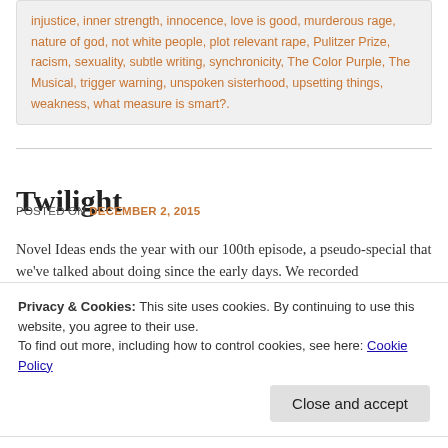injustice, inner strength, innocence, love is good, murderous rage, nature of god, not white people, plot relevant rape, Pulitzer Prize, racism, sexuality, subtle writing, synchronicity, The Color Purple, The Musical, trigger warning, unspoken sisterhood, upsetting things, weakness, what measure is smart?.
Twilight
POSTED ON DECEMBER 2, 2015
Novel Ideas ends the year with our 100th episode, a pseudo-special that we've talked about doing since the early days. We recorded
Privacy & Cookies: This site uses cookies. By continuing to use this website, you agree to their use.
To find out more, including how to control cookies, see here: Cookie Policy
Close and accept